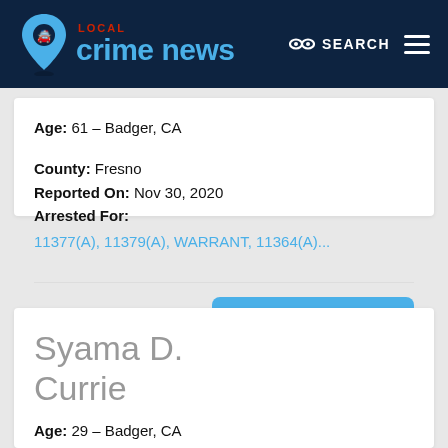LOCAL crime news — SEARCH
Age: 61 – Badger, CA
County: Fresno
Reported On: Nov 30, 2020
Arrested For:
11377(A), 11379(A), WARRANT, 11364(A)...
View Arrest Details
Syama D. Currie
Age: 29 – Badger, CA